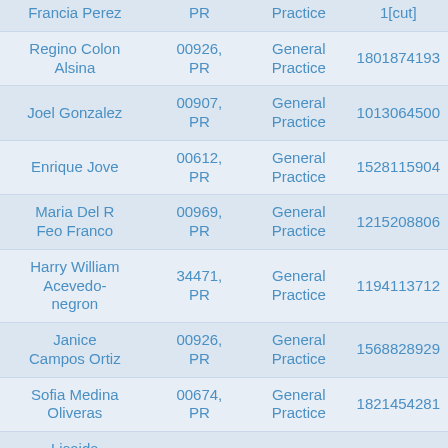| Name | ZIP, State | Specialty | NPI |
| --- | --- | --- | --- |
| Francia Perez | PR | Practice | 1[cut] |
| Regino Colon Alsina | 00926, PR | General Practice | 1801874193 |
| Joel Gonzalez | 00907, PR | General Practice | 1013064500 |
| Enrique Jove | 00612, PR | General Practice | 1528115904 |
| Maria Del R Feo Franco | 00969, PR | General Practice | 1215208806 |
| Harry William Acevedo-negron | 34471, PR | General Practice | 1194113712 |
| Janice Campos Ortiz | 00926, PR | General Practice | 1568828929 |
| Sofia Medina Oliveras | 00674, PR | General Practice | 1821454281 |
| Lisaida Acevedo Perez | 00676, PR | General Practice | 1497290019 |
| Mente |  |  |  |